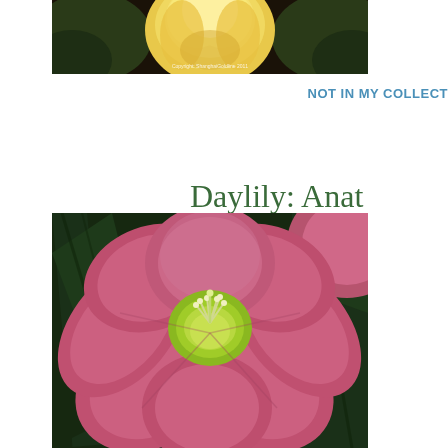[Figure (photo): Top portion of a yellow/gold daylily flower against a dark background, with a copyright watermark reading 'Copyright: ShanghaiGoldline 2011']
NOT IN MY COLLECT
Daylily: Anat
[Figure (photo): A large pink/rose colored daylily flower with ruffled petals and a green-yellow center with white stamens, set against dark green foliage]